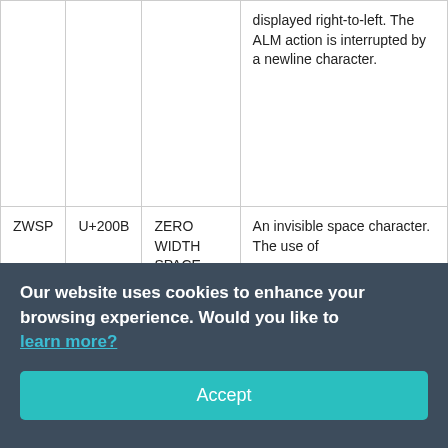| Abbreviation | Code Point | Character Name | Description |
| --- | --- | --- | --- |
|  |  |  | displayed right-to-left. The ALM action is interrupted by a newline character. |
| ZWSP | U+200B | ZERO WIDTH SPACE | An invisible space character. The use of |
Our website uses cookies to enhance your browsing experience. Would you like to learn more?